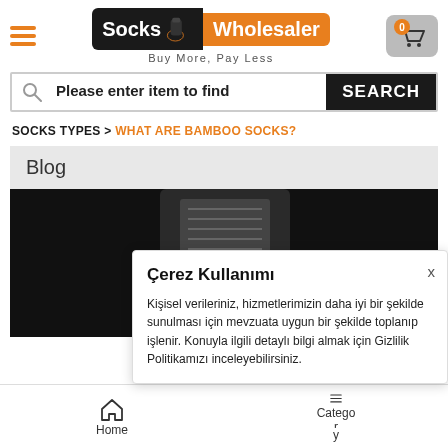[Figure (logo): Socks Wholesaler logo with hamburger menu and cart icon in header]
[Figure (screenshot): Search bar with text 'Please enter item to find' and SEARCH button]
SOCKS TYPES > WHAT ARE BAMBOO SOCKS?
Blog
[Figure (photo): Dark photo of person reading/turning pages of a document/book]
Çerez Kullanımı
Kişisel verileriniz, hizmetlerimizin daha iyi bir şekilde sunulması için mevzuata uygun bir şekilde toplanıp işlenir. Konuyla ilgili detaylı bilgi almak için Gizlilik Politikamızı inceleyebilirsiniz.
[Figure (logo): WhatsApp green circle button]
Home
Category